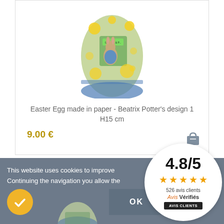[Figure (photo): Decorative Easter egg made in paper with Beatrix Potter design, oval shaped with illustrated characters including a rabbit, shown against white background]
Easter Egg made in paper - Beatrix Potter's design 1
H15 cm
9.00 €
[Figure (illustration): Shopping bag / cart icon in dark gray]
This website uses cookies to improve
Continuing the navigation you allow the
OK
[Figure (infographic): Rating widget showing 4.8/5 score with 5 orange stars and 526 avis clients from Avis Vérifiés]
526 avis clients
[Figure (photo): Partially visible product image at bottom of page]